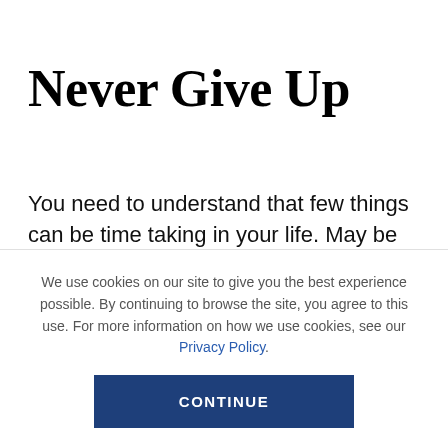Never Give Up
You need to understand that few things can be time taking in your life. May be you have a plan but it couldn't get fulfill within the expected period of time. Now it's wise to understand such situation with hope to see it happening very soon. It's like never let go and
We use cookies on our site to give you the best experience possible. By continuing to browse the site, you agree to this use. For more information on how we use cookies, see our Privacy Policy.